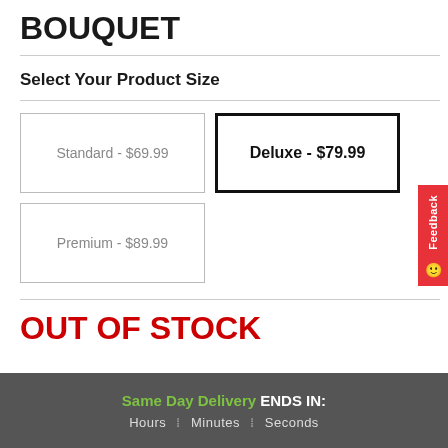BOUQUET
Select Your Product Size
Standard - $69.99
Deluxe - $79.99
Premium - $89.99
OUT OF STOCK
Same Day Delivery ENDS IN: Hours : Minutes : Seconds